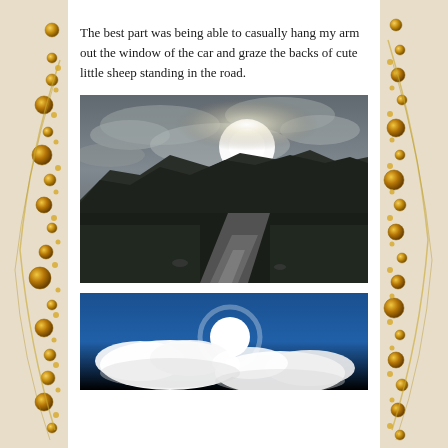[Figure (photo): Top strip of a photo showing green vegetation/landscape, partially visible at top of page]
The best part was being able to casually hang my arm out the window of the car and graze the backs of cute little sheep standing in the road.
[Figure (photo): Dramatic landscape photo of a narrow road stretching toward mountains with a bright sun breaking through cloudy sky, dark silhouetted hills, and reflective wet road surface]
[Figure (photo): Photo of bright sun shining through white fluffy clouds against a deep blue sky, partially visible at bottom of page]